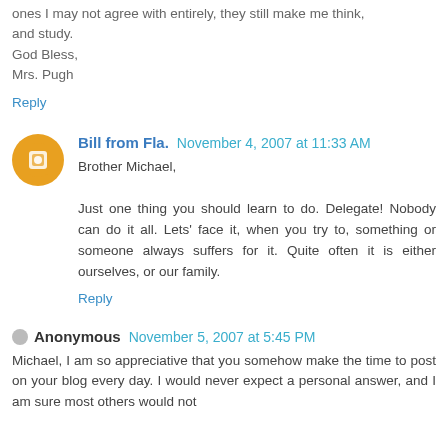ones I may not agree with entirely, they still make me think, and study.
God Bless,
Mrs. Pugh
Reply
Bill from Fla.  November 4, 2007 at 11:33 AM
Brother Michael,

Just one thing you should learn to do. Delegate! Nobody can do it all. Lets' face it, when you try to, something or someone always suffers for it. Quite often it is either ourselves, or our family.
Reply
Anonymous  November 5, 2007 at 5:45 PM
Michael, I am so appreciative that you somehow make the time to post on your blog every day. I would never expect a personal answer, and I am sure most others would not